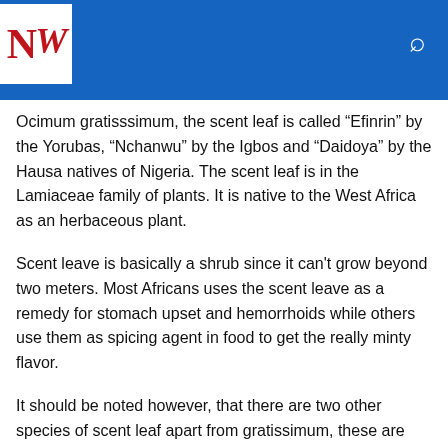NW
Ocimum gratisssimum, the scent leaf is called “Efinrin” by the Yorubas, “Nchanwu” by the Igbos and “Daidoya” by the Hausa natives of Nigeria. The scent leaf is in the Lamiaceae family of plants. It is native to the West Africa as an herbaceous plant.
Scent leave is basically a shrub since it can't grow beyond two meters. Most Africans uses the scent leave as a remedy for stomach upset and hemorrhoids while others use them as spicing agent in food to get the really minty flavor.
It should be noted however, that there are two other species of scent leaf apart from gratissimum, these are Ocimum basilicum and Ocimum sanctum. The one in West Africa however, is the Ocimum gratissimum.